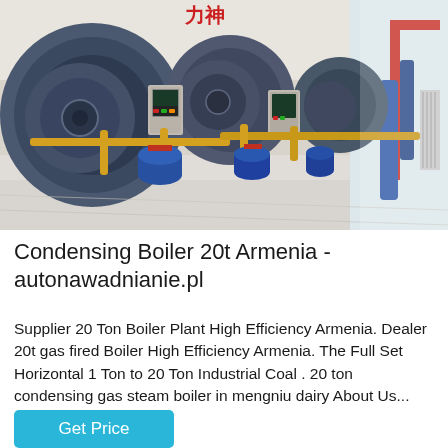[Figure (photo): Industrial boiler room with large cylindrical blue and grey boilers, yellow pipes, red and blue metal structures, white tiled floor, bright industrial facility interior.]
Condensing Boiler 20t Armenia - autonawadnianie.pl
Supplier 20 Ton Boiler Plant High Efficiency Armenia. Dealer 20t gas fired Boiler High Efficiency Armenia. The Full Set Horizontal 1 Ton to 20 Ton Industrial Coal . 20 ton condensing gas steam boiler in mengniu dairy About Us...
Get Price